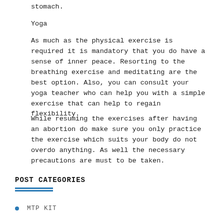stomach.
Yoga
As much as the physical exercise is required it is mandatory that you do have a sense of inner peace. Resorting to the breathing exercise and meditating are the best option. Also, you can consult your yoga teacher who can help you with a simple exercise that can help to regain flexibility.
While resuming the exercises after having an abortion do make sure you only practice the exercise which suits your body do not overdo anything. As well the necessary precautions are must to be taken.
POST CATEGORIES
MTP KIT